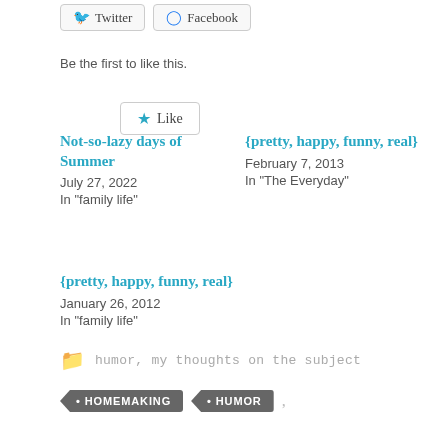Twitter | Facebook
Like
Be the first to like this.
Not-so-lazy days of Summer
July 27, 2022
In "family life"
{pretty, happy, funny, real}
February 7, 2013
In "The Everyday"
{pretty, happy, funny, real}
January 26, 2012
In "family life"
humor, my thoughts on the subject
HOMEMAKING   HUMOR
• HOMEMAKING
• HUMOR